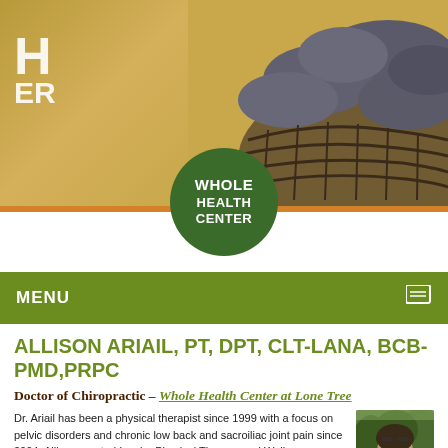[Figure (photo): Website header banner showing a basket of dark smooth river stones on a tan/golden textured background, with partial white text 'H' and 'ER' on the left side. A green circular logo reads 'WHOLE HEALTH CENTER' overlapping the bottom of the banner.]
MENU
ALLISON ARIAIL, PT, DPT, CLT-LANA, BCB-PMD,PRPC
Doctor of Chiropractic – Whole Health Center at Lone Tree
Dr. Ariail has been a physical therapist since 1999 with a focus on pelvic disorders and chronic low back and sacroiliac joint pain since 2004. Allison created Inspire Physical Therapy and Wellness as an effort to provide
[Figure (photo): Headshot photo of a woman (Allison Ariail) with dark hair, wearing glasses pushed up on head, outdoors with trees in background.]